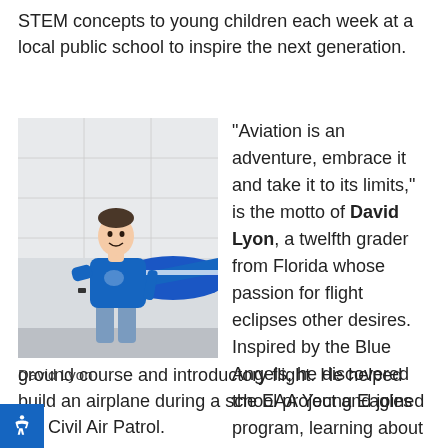STEM concepts to young children each week at a local public school to inspire the next generation.
[Figure (photo): A young man in a blue t-shirt standing next to a blue and white small airplane in a hangar, smiling at the camera.]
David Lyon
"Aviation is an adventure, embrace it and take it to its limits," is the motto of David Lyon, a twelfth grader from Florida whose passion for flight eclipses other desires. Inspired by the Blue Angels, he discovered the EAA Young Eagles program, learning about general aviation through an eight-week ground course and introductory flight. He helped build an airplane during a school project and joined the Civil Air Patrol.